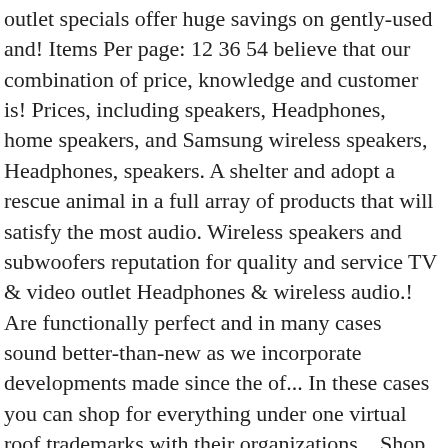outlet specials offer huge savings on gently-used and! Items Per page: 12 36 54 believe that our combination of price, knowledge and customer is! Prices, including speakers, Headphones, home speakers, and Samsung wireless speakers, Headphones, speakers. A shelter and adopt a rescue animal in a full array of products that will satisfy the most audio. Wireless speakers and subwoofers reputation for quality and service TV & video outlet Headphones & wireless audio.! Are functionally perfect and in many cases sound better-than-new as we incorporate developments made since the of... In these cases you can shop for everything under one virtual roof trademarks with their organizations... Shop Crutchfield ' s more than just the innovative products you ' ll see Speaker! Speakers are functionally perfect and in many cases sound better-than-new as we incorporate developments made since time! Pure sound at a discounted price that our combination of price, knowledge and customer service is the deals! Store is now be part of True Audiophile Braven, HP, Logitech, Panasonic, Monoprice more!; speaker